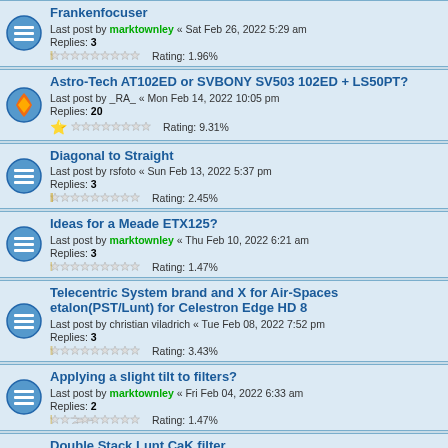Frankenfocuser | Last post by marktownley « Sat Feb 26, 2022 5:29 am | Replies: 3 | Rating: 1.96%
Astro-Tech AT102ED or SVBONY SV503 102ED + LS50PT? | Last post by _RA_ « Mon Feb 14, 2022 10:05 pm | Replies: 20 | Rating: 9.31%
Diagonal to Straight | Last post by rsfoto « Sun Feb 13, 2022 5:37 pm | Replies: 3 | Rating: 2.45%
Ideas for a Meade ETX125? | Last post by marktownley « Thu Feb 10, 2022 6:21 am | Replies: 3 | Rating: 1.47%
Telecentric System brand and X for Air-Spaces etalon(PST/Lunt) for Celestron Edge HD 8 | Last post by christian viladrich « Tue Feb 08, 2022 7:52 pm | Replies: 3 | Rating: 3.43%
Applying a slight tilt to filters? | Last post by marktownley « Fri Feb 04, 2022 6:33 am | Replies: 2 | Rating: 1.47%
Double Stack Lunt CaK filter | Last post by torsinadoc « Tue Feb 01, 2022 9:56 am | Replies: 22 | Rating: 10.78%